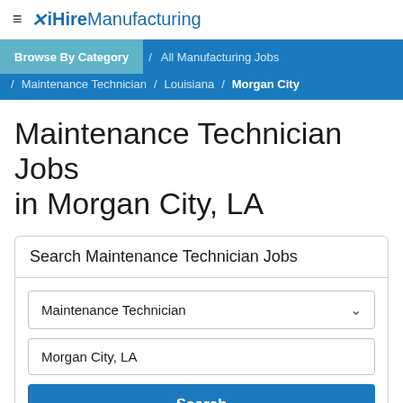≡ ✕ iHireManufacturing
Browse By Category / All Manufacturing Jobs / Maintenance Technician / Louisiana / Morgan City
Maintenance Technician Jobs in Morgan City, LA
Search Maintenance Technician Jobs
Maintenance Technician
Morgan City, LA
Search